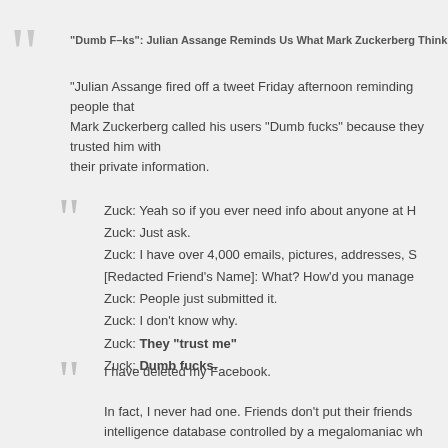"Dumb F–ks": Julian Assange Reminds Us What Mark Zuckerberg Thinks Of Facebook Users
"Julian Assange fired off a tweet Friday afternoon reminding people that Mark Zuckerberg called his users "Dumb fucks" because they trusted him with their private information.
Zuck: Yeah so if you ever need info about anyone at H
Zuck: Just ask.
Zuck: I have over 4,000 emails, pictures, addresses, S
[Redacted Friend's Name]: What? How'd you manage
Zuck: People just submitted it.
Zuck: I don't know why.
Zuck: They "trust me"
Zuck: Dumb fucks.
I have deleted my Facebook.
In fact, I never had one. Friends don't put their friends intelligence database controlled by a megalomaniac who calls his users "dumb fucks" for trusting him. pic.twitter.com/4Ka